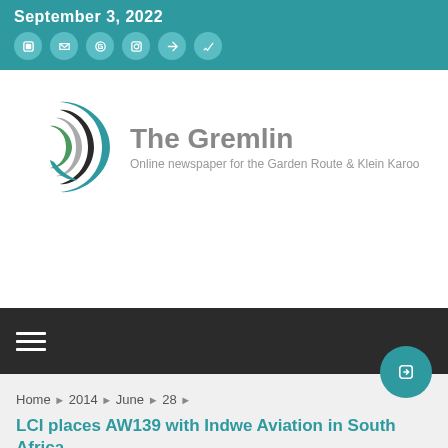September 3, 2022
[Figure (logo): The Gremlin logo - teal crescent wave shape with text 'The Gremlin' and subtitle 'Online newspaper for the Garden Route & Klein Karoo']
Home › 2014 › June › 28 ›
LCI places AW139 with Indwe Aviation in South Africa